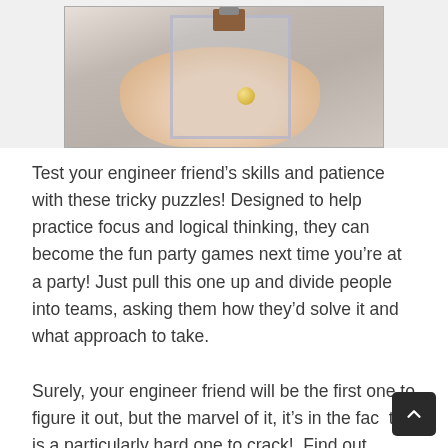[Figure (photo): A hand holding a clear glass box puzzle with a wooden top piece and a small ball inside the box.]
Test your engineer friend’s skills and patience with these tricky puzzles! Designed to help practice focus and logical thinking, they can become the fun party games next time you’re at a party! Just pull this one up and divide people into teams, asking them how they’d solve it and what approach to take.
Surely, your engineer friend will be the first one to figure it out, but the marvel of it, it’s in the fact this is a particularly hard one to crack!. Find out